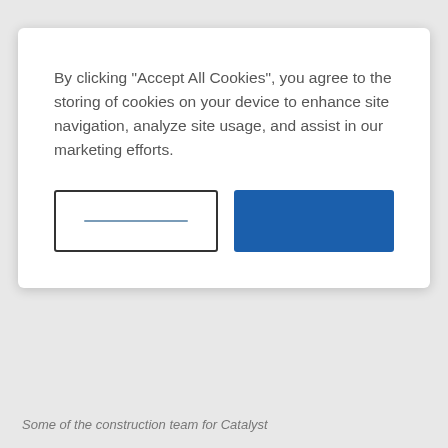By clicking "Accept All Cookies", you agree to the storing of cookies on your device to enhance site navigation, analyze site usage, and assist in our marketing efforts.
[Figure (screenshot): Cookie consent dialog with two buttons: an outlined button (Cookies Settings) and a solid blue button (Accept All Cookies)]
Some of the construction team for Catalyst